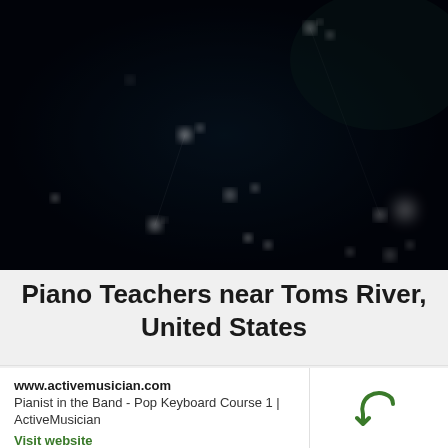[Figure (photo): Dark background image resembling a night sky with scattered blurred white light spots/stars on a near-black background with subtle dark teal tones.]
Piano Teachers near Toms River, United States
www.activemusician.com
Pianist in the Band - Pop Keyboard Course 1 | ActiveMusician
Visit website